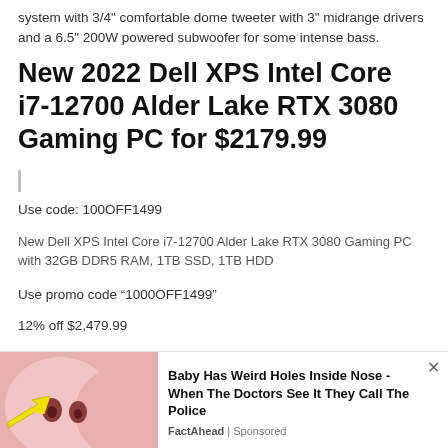system with 3/4" comfortable dome tweeter with 3" midrange drivers and a 6.5" 200W powered subwoofer for some intense bass.
New 2022 Dell XPS Intel Core i7-12700 Alder Lake RTX 3080 Gaming PC for $2179.99
Use code: 100OFF1499
New Dell XPS Intel Core i7-12700 Alder Lake RTX 3080 Gaming PC with 32GB DDR5 RAM, 1TB SSD, 1TB HDD
Use promo code "1000OFF1499"
12% off $2,479.99
[Figure (photo): Advertisement banner at the bottom with a close-up photo of a baby's nose with a yellow arrow pointing to it, and ad text: Baby Has Weird Holes Inside Nose - When The Doctors See It They Call The Police. Source: FactAhead | Sponsored]